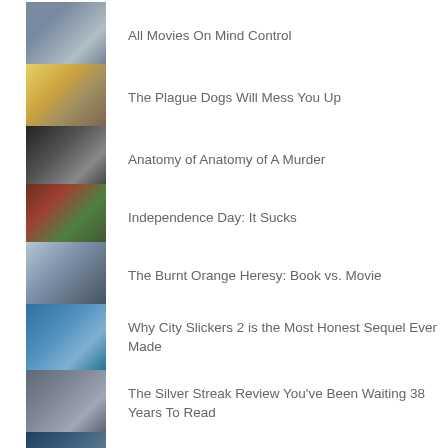All Movies On Mind Control
The Plague Dogs Will Mess You Up
Anatomy of Anatomy of A Murder
Independence Day: It Sucks
The Burnt Orange Heresy: Book vs. Movie
Why City Slickers 2 is the Most Honest Sequel Ever Made
The Silver Streak Review You've Been Waiting 38 Years To Read
The Slugger's Wife and Extended Slumps